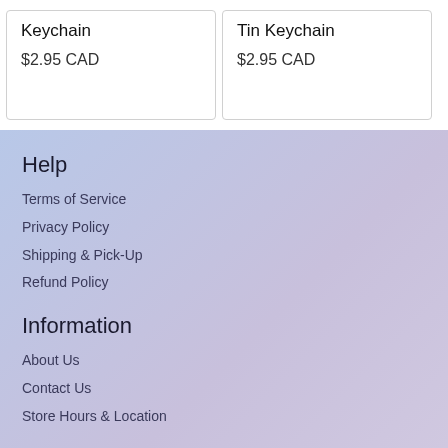Keychain
$2.95 CAD
Tin Keychain
$2.95 CAD
Help
Terms of Service
Privacy Policy
Shipping & Pick-Up
Refund Policy
Information
About Us
Contact Us
Store Hours & Location